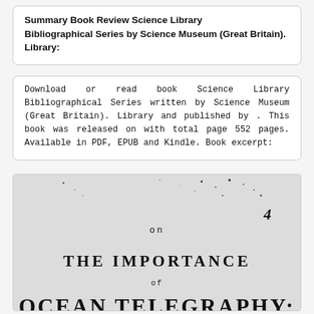Summary Book Review Science Library Bibliographical Series by Science Museum (Great Britain). Library:
Download or read book Science Library Bibliographical Series written by Science Museum (Great Britain). Library and published by . This book was released on with total page 552 pages. Available in PDF, EPUB and Kindle. Book excerpt:
[Figure (other): Scanned page of an old book showing the beginning of a title page. Text reads: ON (centered), 4 (page number top right), THE IMPORTANCE (centered, bold serif), of (centered), OCEAN TELEGRAPHY: (centered, large bold serif, partially cut off at bottom)]